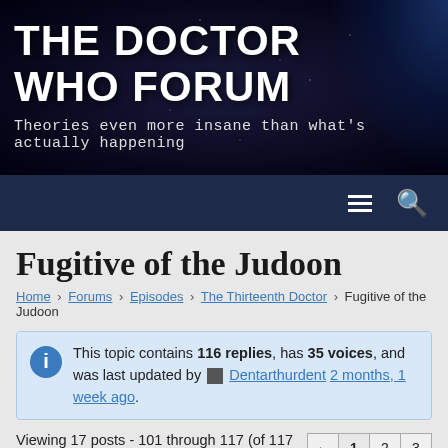THE DOCTOR WHO FORUM
Theories even more insane than what's actually happening
Fugitive of the Judoon
Home › Forums › Episodes › The Thirteenth Doctor › Fugitive of the Judoon
This topic contains 116 replies, has 35 voices, and was last updated by Dentarthurdent 2 months, 1 week ago.
Viewing 17 posts - 101 through 117 (of 117 total)
31 January 2020 at 20:24
#69513
Mudlark @mudlark